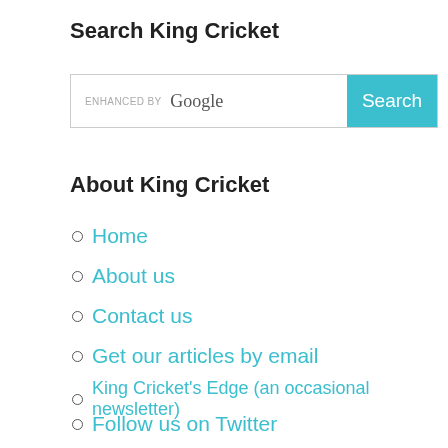Search King Cricket
[Figure (other): Search box with 'ENHANCED BY Google' label and a teal 'Search' button]
About King Cricket
Home
About us
Contact us
Get our articles by email
King Cricket's Edge (an occasional newsletter)
Follow us on Twitter
Support King Cricket
Our Patreon crowdfunder